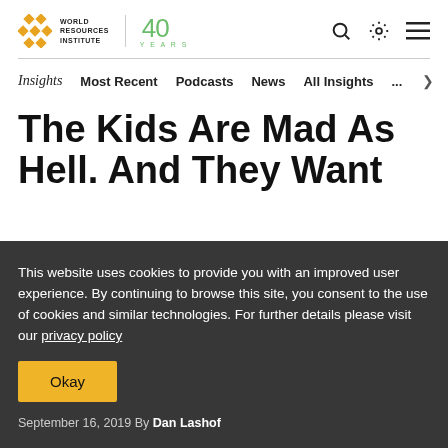World Resources Institute | 40 Years
Insights   Most Recent   Podcasts   News   All Insights   ...
The Kids Are Mad As Hell. And They Want Adults to Join Them in a Climate Action School Strike
This website uses cookies to provide you with an improved user experience. By continuing to browse this site, you consent to the use of cookies and similar technologies. For further details please visit our privacy policy
Okay
September 16, 2019 By Dan Lashof